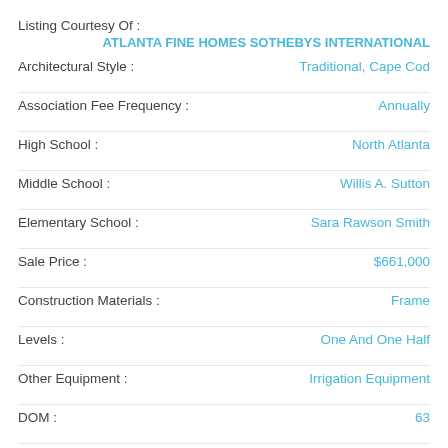Listing Courtesy Of :
ATLANTA FINE HOMES SOTHEBYS INTERNATIONAL
| Field | Value |
| --- | --- |
| Architectural Style : | Traditional, Cape Cod |
| Association Fee Frequency : | Annually |
| High School : | North Atlanta |
| Middle School : | Willis A. Sutton |
| Elementary School : | Sara Rawson Smith |
| Sale Price : | $661,000 |
| Construction Materials : | Frame |
| Levels : | One And One Half |
| Other Equipment : | Irrigation Equipment |
| DOM : | 63 |
| Original List Price : | $694,500 |
| ParcelNumber : | 2777ShadyValleyDR |
| Property Condition : | Resale |